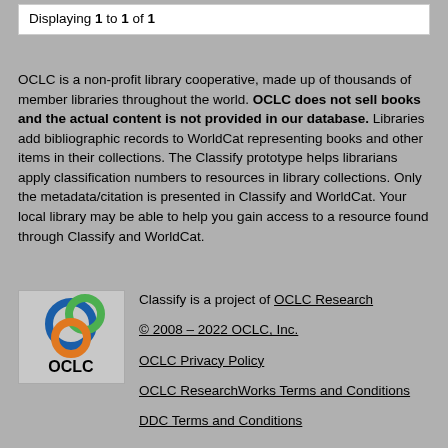Displaying 1 to 1 of 1
OCLC is a non-profit library cooperative, made up of thousands of member libraries throughout the world. OCLC does not sell books and the actual content is not provided in our database. Libraries add bibliographic records to WorldCat representing books and other items in their collections. The Classify prototype helps librarians apply classification numbers to resources in library collections. Only the metadata/citation is presented in Classify and WorldCat. Your local library may be able to help you gain access to a resource found through Classify and WorldCat.
[Figure (logo): OCLC logo with circular interlocking rings in blue, green, and orange above the text OCLC]
Classify is a project of OCLC Research
© 2008 – 2022 OCLC, Inc.
OCLC Privacy Policy
OCLC ResearchWorks Terms and Conditions
DDC Terms and Conditions